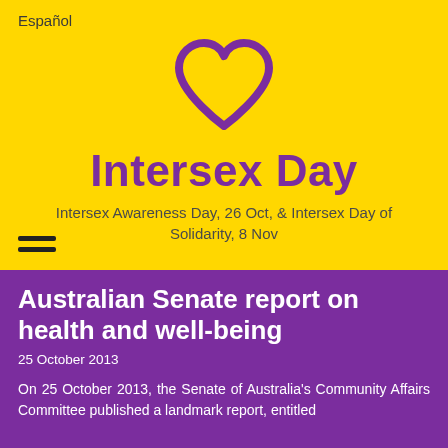Español
[Figure (logo): Purple heart outline logo on yellow background]
Intersex Day
Intersex Awareness Day, 26 Oct, & Intersex Day of Solidarity, 8 Nov
Australian Senate report on health and well-being
25 October 2013
On 25 October 2013, the Senate of Australia's Community Affairs Committee published a landmark report, entitled